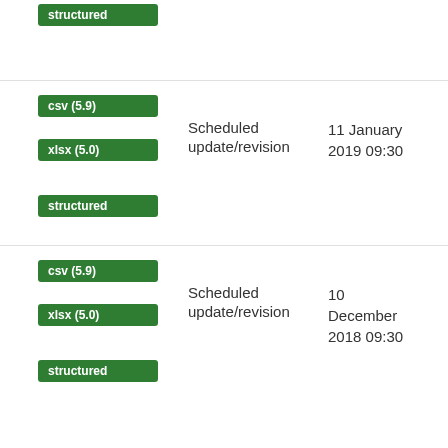structured
csv (5.9), xlsx (5.0), structured | Scheduled update/revision | 11 January 2019 09:30
csv (5.9), xlsx (5.0), structured | Scheduled update/revision | 10 December 2018 09:30